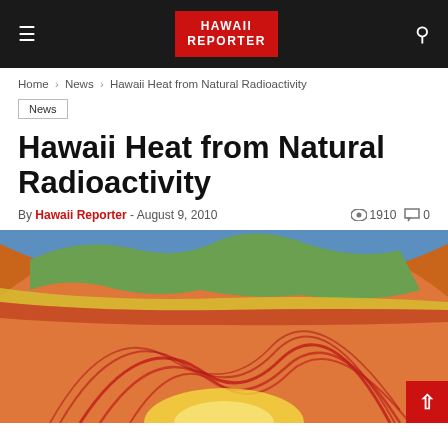HAWAII REPORTER
Home > News > Hawaii Heat from Natural Radioactivity
News
Hawaii Heat from Natural Radioactivity
By Hawaii Reporter - August 9, 2010  1910  0
[Figure (illustration): Scientific illustration of Earth's interior cross-section showing mantle convection currents in red/orange tones, with a colorful surface crust visible at the top in blue, green, and yellow hues. The image shows heat flow and convection patterns inside the Earth.]